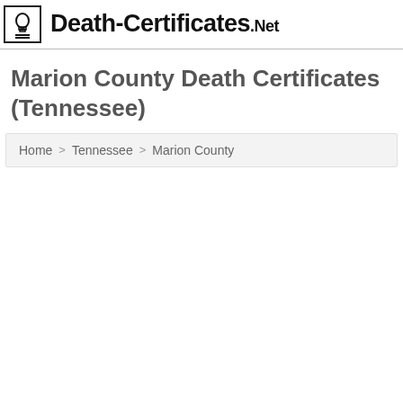Death-Certificates.Net
Marion County Death Certificates (Tennessee)
Home > Tennessee > Marion County